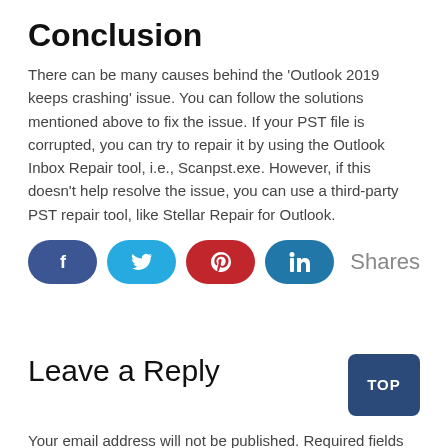Conclusion
There can be many causes behind the ‘Outlook 2019 keeps crashing’ issue. You can follow the solutions mentioned above to fix the issue. If your PST file is corrupted, you can try to repair it by using the Outlook Inbox Repair tool, i.e., Scanpst.exe. However, if this doesn’t help resolve the issue, you can use a third-party PST repair tool, like Stellar Repair for Outlook.
[Figure (infographic): Social share buttons: Facebook (dark blue rounded), Twitter (cyan rounded), Pinterest (red rounded), LinkedIn (teal rounded), followed by the word 'Shares']
Leave a Reply
Your email address will not be published. Required fields are